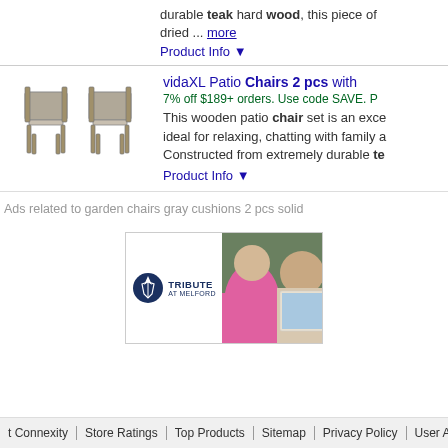durable teak hard wood, this piece of dried ... more
Product Info ▼
vidaXL Patio Chairs 2 pcs with
7% off $189+ orders. Use code SAVE. P
This wooden patio chair set is an excellent, ideal for relaxing, chatting with family a Constructed from extremely durable te
Product Info ▼
Ads related to garden chairs gray cushions 2 pcs solid
[Figure (photo): Tribute at Melford advertisement banner showing logo on left and photo of elderly people doing art on right]
t Connexity  Store Ratings  Top Products  Sitemap  Privacy Policy  User Agreement